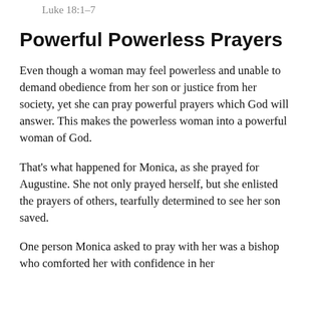Luke 18:1–7
Powerful Powerless Prayers
Even though a woman may feel powerless and unable to demand obedience from her son or justice from her society, yet she can pray powerful prayers which God will answer. This makes the powerless woman into a powerful woman of God.
That's what happened for Monica, as she prayed for Augustine. She not only prayed herself, but she enlisted the prayers of others, tearfully determined to see her son saved.
One person Monica asked to pray with her was a bishop who comforted her with confidence in her